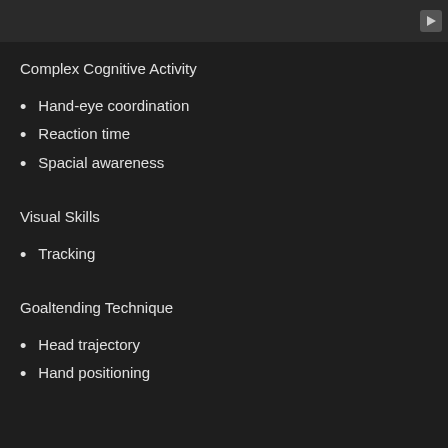[Figure (screenshot): Video thumbnail with play button in top-right corner on dark background]
Complex Cognitive Activity
Hand-eye coordination
Reaction time
Spacial awareness
Visual Skills
Tracking
Goaltending Technique
Head trajectory
Hand positioning